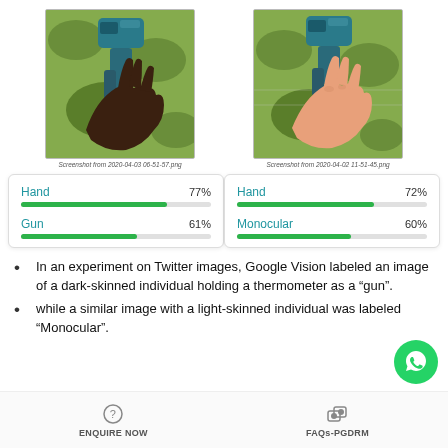[Figure (photo): Two side-by-side photos of hands holding a thermometer gun. Left: dark-skinned hand. Right: light-skinned hand. Both against green foliage background.]
Screenshot from 2020-04-03 06-51-57.png
Screenshot from 2020-04-02 11-51-45.png
[Figure (infographic): Left classifier box: Hand 77%, Gun 61%. Right classifier box: Hand 72%, Monocular 60%.]
In an experiment on Twitter images, Google Vision labeled an image of a dark-skinned individual holding a thermometer as a “gun”.
while a similar image with a light-skinned individual was labeled “Monocular”.
ENQUIRE NOW   FAQs-PGDRM